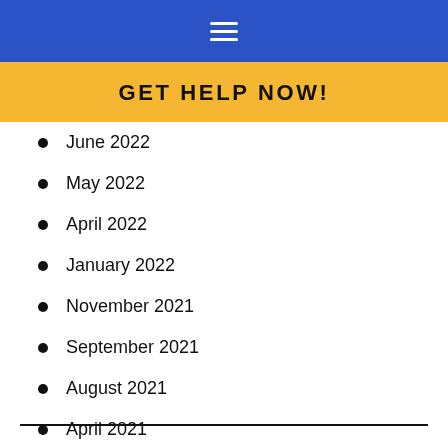GET HELP NOW!
June 2022
May 2022
April 2022
January 2022
November 2021
September 2021
August 2021
April 2021
March 2021